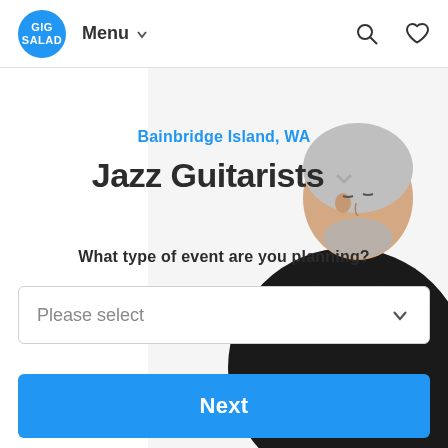GIG SALAD  Menu  [search icon] [heart icon]
[Figure (photo): Older man with gray hair playing a dark jazz guitar, wearing a black jacket, photographed from the right side against a white background.]
Bainbridge Island, WA
Jazz Guitarists
What type of event are you planning?
Please select
Next